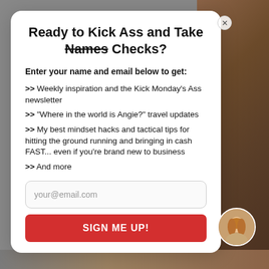Ready to Kick Ass and Take Names Checks?
Enter your name and email below to get:
>> Weekly inspiration and the Kick Monday's Ass newsletter
>> "Where in the world is Angie?" travel updates
>> My best mindset hacks and tactical tips for hitting the ground running and bringing in cash FAST... even if you're brand new to business
>> And more
your@email.com
SIGN ME UP!